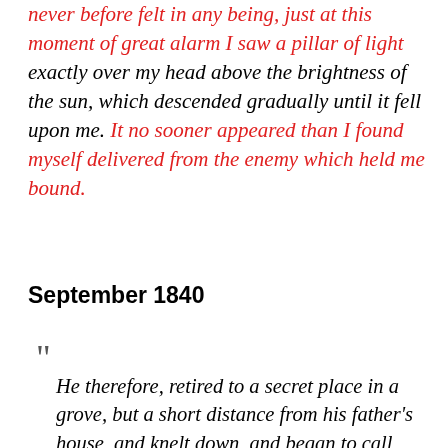never before felt in any being, just at this moment of great alarm I saw a pillar of light exactly over my head above the brightness of the sun, which descended gradually until it fell upon me. It no sooner appeared than I found myself delivered from the enemy which held me bound.
September 1840
He therefore, retired to a secret place in a grove, but a short distance from his father's house, and knelt down, and began to call upon the Lord. At first, he